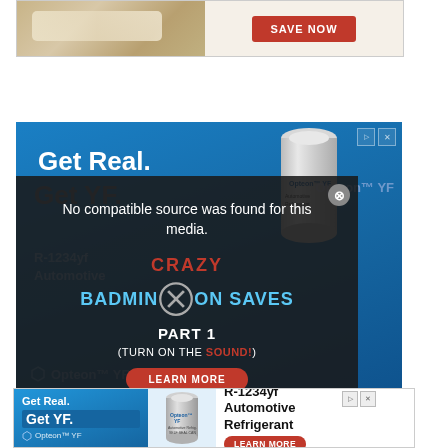[Figure (screenshot): Top advertisement banner showing a food/product image on the left with a red 'SAVE NOW' button on the right]
[Figure (screenshot): Blue advertisement for Opteon YF R-1234yf Automotive Refrigerant with 'Get Real. Get YF.' text, a can image, and a video overlay showing 'No compatible source was found for this media.' with text 'CRAZY BADMINTON SAVES PART 1 (TURN ON THE SOUND!)' and a LEARN MORE button]
[Figure (screenshot): Bottom advertisement banner for Opteon YF R-1234yf Automotive Refrigerant with 'Get Real. Get YF.' on left, can image in center, and 'LEARN MORE' button on right]